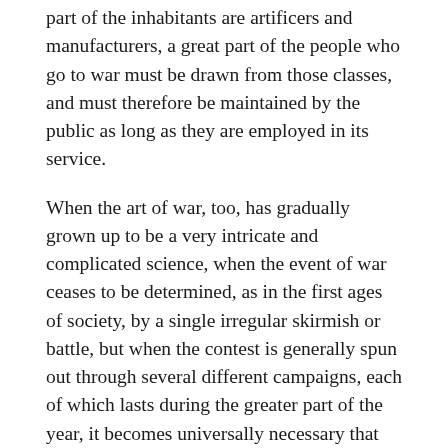part of the inhabitants are artificers and manufacturers, a great part of the people who go to war must be drawn from those classes, and must therefore be maintained by the public as long as they are employed in its service.
When the art of war, too, has gradually grown up to be a very intricate and complicated science, when the event of war ceases to be determined, as in the first ages of society, by a single irregular skirmish or battle, but when the contest is generally spun out through several different campaigns, each of which lasts during the greater part of the year, it becomes universally necessary that the public should maintain those who serve the public in war, at least while they are employed in that service. Whatever in time of peace might be the ordinary occupation of those who go to war, so very tedious and expensive a service would otherwise be far too heavy a burden upon them. After the second Persian war, accordingly, the armies of Athens seem to have been generally composed of mercenary troops,